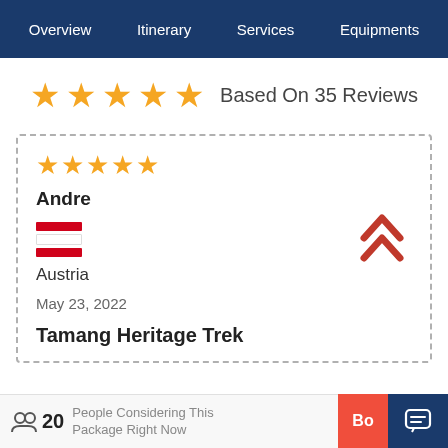Overview | Itinerary | Services | Equipments
★★★★★ Based On 35 Reviews
★★★★★ Andre — Austria — May 23, 2022 — Tamang Heritage Trek
🧑‍🤝‍🧑 20 People Considering This Package Right Now